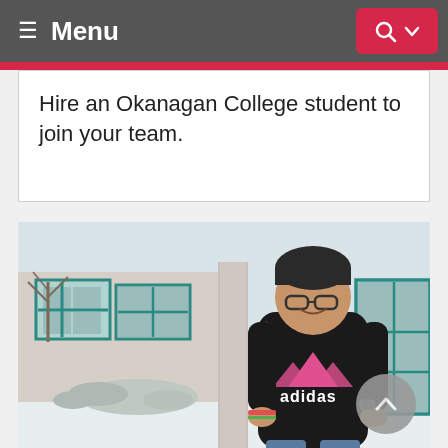Menu
Hire an Okanagan College student to join your team.
[Figure (photo): A young male student wearing a black Adidas hoodie with pink logo, glasses, and a dark beanie hat, standing outside an Okanagan College building with teal-framed windows. Snow is visible in the background.]